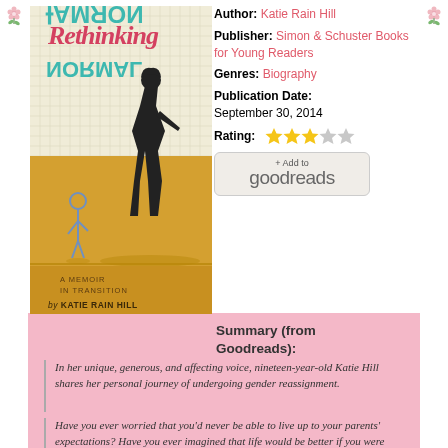[Figure (illustration): Book cover of 'Rethinking Normal: A Memoir in Transition' by Katie Rain Hill. Tan/golden background with silhouette of a girl walking and a small boy standing. Title text 'Rethinking Normal' at top with 'NORMAL' mirrored/upside-down. Subtitle 'A Memoir in Transition' and author name 'by KATIE RAIN HILL' at bottom.]
Author: Katie Rain Hill
Publisher: Simon & Schuster Books for Young Readers
Genres: Biography
Publication Date: September 30, 2014
Rating: 3 out of 5 stars
[Figure (logo): + Add to goodreads button]
Summary (from Goodreads):
In her unique, generous, and affecting voice, nineteen-year-old Katie Hill shares her personal journey of undergoing gender reassignment.
Have you ever worried that you'd never be able to live up to your parents' expectations? Have you ever imagined that life would be better if you were just...